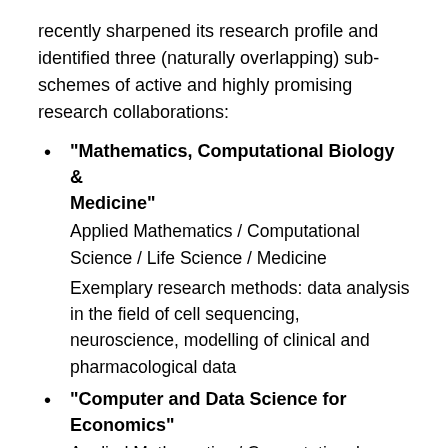recently sharpened its research profile and identified three (naturally overlapping) sub-schemes of active and highly promising research collaborations:
"Mathematics, Computational Biology & Medicine"
Applied Mathematics / Computational Science / Life Science / Medicine
Exemplary research methods: data analysis in the field of cell sequencing, neuroscience, modelling of clinical and pharmacological data
"Computer and Data Science for Economics"
Applied Mathematics / Computational Science / Quantitative Economics